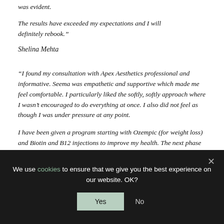was evident.
The results have exceeded my expectations and I will definitely rebook.”
Shelina Mehta
“I found my consultation with Apex Aesthetics professional and informative. Seema was empathetic and supportive which made me feel comfortable. I particularly liked the softly, softly approach where I wasn’t encouraged to do everything at once. I also did not feel as though I was under pressure at any point.
I have been given a program starting with Ozempic (for weight loss) and Biotin and B12 injections to improve my health. The next phase will be a little Botox and regular Profilho facials.
We use cookies to ensure that we give you the best experience on our website. OK?